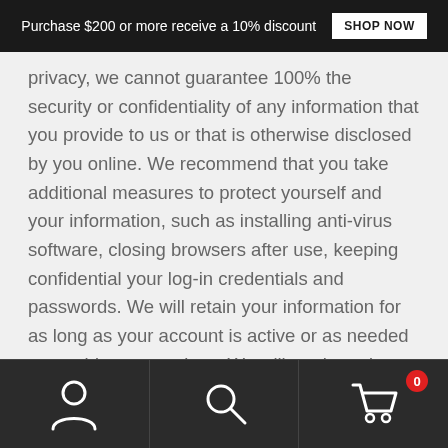Purchase $200 or more receive a 10% discount  SHOP NOW
privacy, we cannot guarantee 100% the security or confidentiality of any information that you provide to us or that is otherwise disclosed by you online. We recommend that you take additional measures to protect yourself and your information, such as installing anti-virus software, closing browsers after use, keeping confidential your log-in credentials and passwords. We will retain your information for as long as your account is active or as needed to provide you services. We will retain and use your information as necessary to comply with our legal obligations, resolve disputes, and enforce our agreements.
CHILDREN'S PRIVACY
[Figure (other): Bottom navigation bar with user account icon, search icon, and shopping cart icon with badge showing 0]